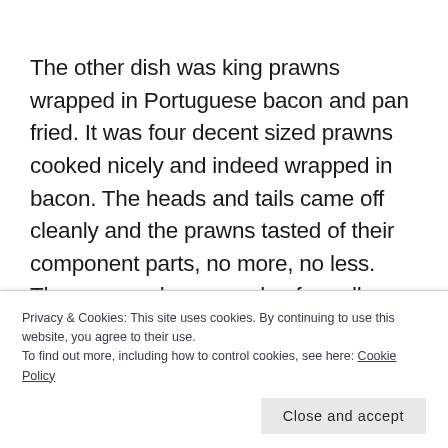The other dish was king prawns wrapped in Portuguese bacon and pan fried. It was four decent sized prawns cooked nicely and indeed wrapped in bacon. The heads and tails came off cleanly and the prawns tasted of their component parts, no more, no less. There were also a couple of needless sections of red, green and yellow pepper. This wasn't
Privacy & Cookies: This site uses cookies. By continuing to use this website, you agree to their use.
To find out more, including how to control cookies, see here: Cookie Policy